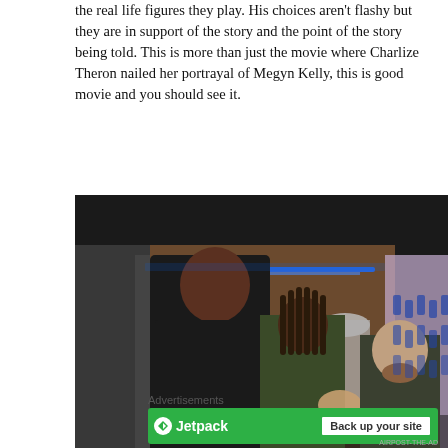the real life figures they play. His choices aren't flashy but they are in support of the story and the point of the story being told. This is more than just the movie where Charlize Theron nailed her portrayal of Megyn Kelly, this is good movie and you should see it.
[Figure (photo): Movie still showing three men in what appears to be a futuristic interior with blue LED lighting and display cases. A tall muscular Black man in a dark jacket stands on the left facing two other men — one with dreadlocks in an olive jacket in the center, and one shorter man on the right gesturing with his hands.]
Advertisements
[Figure (other): Jetpack advertisement banner with green background showing Jetpack logo on left and 'Back up your site' button on right]